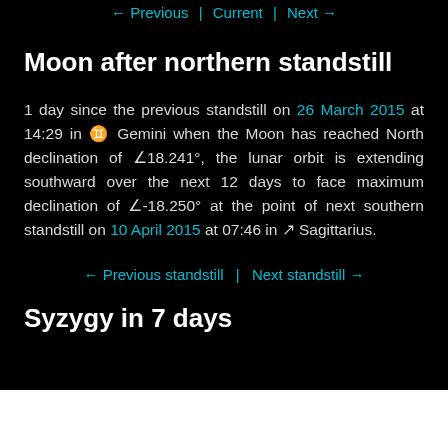← Previous | Current | Next →
Moon after northern standstill
1 day since the previous standstill on 26 March 2015 at 14:29 in ♊ Gemini when the Moon has reached North declination of ∠18.241°, the lunar orbit is extending southward over the next 12 days to face maximum declination of ∠-18.250° at the point of next southern standstill on 10 April 2015 at 07:46 in ♐ Sagittarius.
← Previous standstill | Next standstill →
Syzygy in 7 days